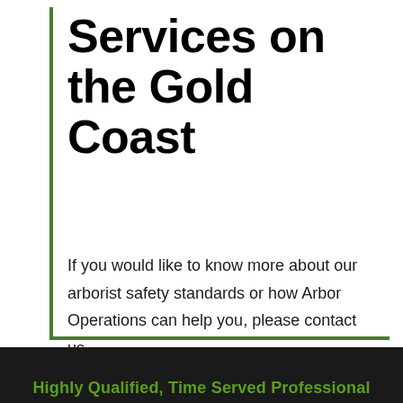Services on the Gold Coast
If you would like to know more about our arborist safety standards or how Arbor Operations can help you, please contact us.
Highly Qualified, Time Served Professional